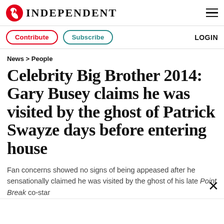INDEPENDENT
Contribute | Subscribe | LOGIN
News > People
Celebrity Big Brother 2014: Gary Busey claims he was visited by the ghost of Patrick Swayze days before entering house
Fan concerns showed no signs of being appeased after he sensationally claimed he was visited by the ghost of his late Point Break co-star